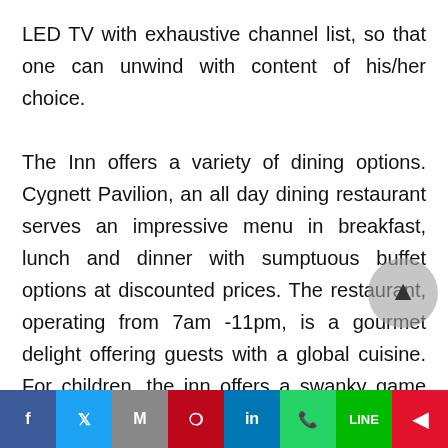LED TV with exhaustive channel list, so that one can unwind with content of his/her choice.

The Inn offers a variety of dining options. Cygnett Pavilion, an all day dining restaurant serves an impressive menu in breakfast, lunch and dinner with sumptuous buffet options at discounted prices. The restaurant, operating from 7am -11pm, is a gourmet delight offering guests with a global cuisine. For children, the inn offers a swanky game zone that is fully equipped to ensure that the little ones cherish their play time. Cygnett Inn Trendz believes in outstanding hospitality, which starts from tea & coffee when guests are arrived to the last minute
[Figure (other): Social media share bar with icons for Facebook, Twitter, Gmail/Google, Pinterest, LinkedIn, WhatsApp, LINE, and Flipboard]